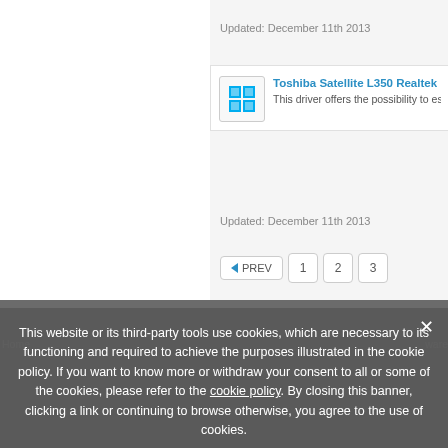Updated: December 11th 2013
Toshiba Satellite L350 Realtek L...
This driver offers the possibility to establi...
Updated: December 11th 2013
← PREV  1  2  3
Home
ware
This website or its third-party tools use cookies, which are necessary to its functioning and required to achieve the purposes illustrated in the cookie policy. If you want to know more or withdraw your consent to all or some of the cookies, please refer to the cookie policy. By closing this banner, clicking a link or continuing to browse otherwise, you agree to the use of cookies.